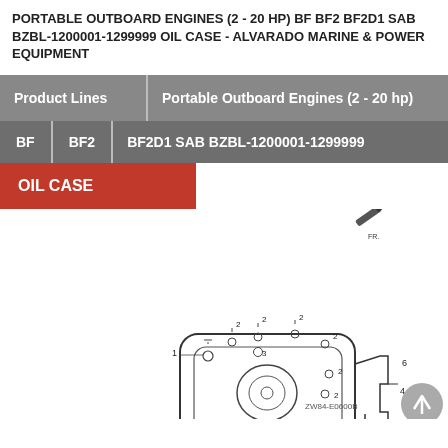PORTABLE OUTBOARD ENGINES (2 - 20 HP) BF BF2 BF2D1 SAB BZBL-1200001-1299999 OIL CASE - ALVARADO MARINE & POWER EQUIPMENT
| Product Lines | Portable Outboard Engines (2 - 20 hp) |
| --- | --- |
| BF | BF2 | BF2D1 SAB BZBL-1200001-1299999 |
| OIL CASE |  |
[Figure (engineering-diagram): Exploded parts diagram of an oil case assembly for Honda BF2D1 outboard engine, showing numbered components (1, 2, 3, 4, 5, 6) with leader lines. Components include bolts/screws (qty 2), a circular main body, and a bracket assembly. Diagram labeled B-13 and ZW84-E0600B.]